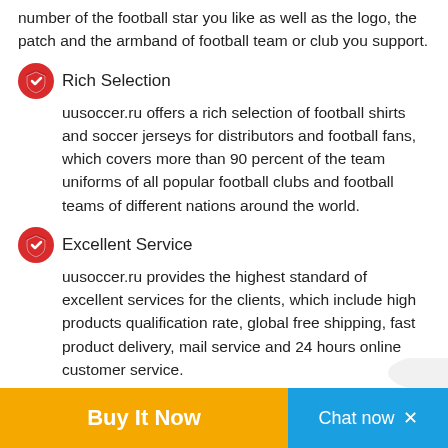number of the football star you like as well as the logo, the patch and the armband of football team or club you support.
Rich Selection
uusoccer.ru offers a rich selection of football shirts and soccer jerseys for distributors and football fans, which covers more than 90 percent of the team uniforms of all popular football clubs and football teams of different nations around the world.
Excellent Service
uusoccer.ru provides the highest standard of excellent services for the clients, which include high products qualification rate, global free shipping, fast product delivery, mail service and 24 hours online customer service.
Prominent Features, Rich Selection, and Excellent Service are our eternal pursue !
Buy It Now   Chat now